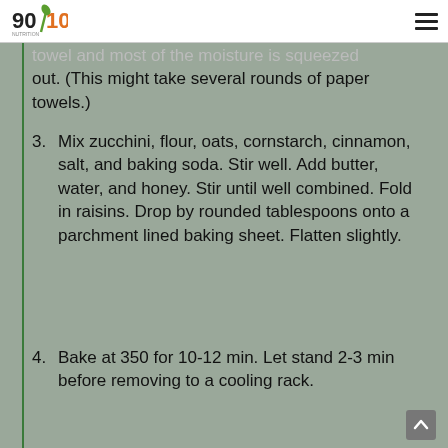90/10 Nutrition logo and hamburger menu
towel and most of the moisture is squeezed out. (This might take several rounds of paper towels.)
3. Mix zucchini, flour, oats, cornstarch, cinnamon, salt, and baking soda. Stir well. Add butter, water, and honey. Stir until well combined. Fold in raisins. Drop by rounded tablespoons onto a parchment lined baking sheet. Flatten slightly.
4. Bake at 350 for 10-12 min. Let stand 2-3 min before removing to a cooling rack.